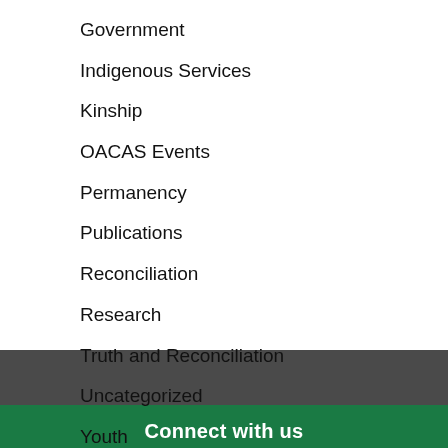Government
Indigenous Services
Kinship
OACAS Events
Permanency
Publications
Reconciliation
Research
Truth and Reconciliation
Uncategorized
Youth
Connect with us
Share This